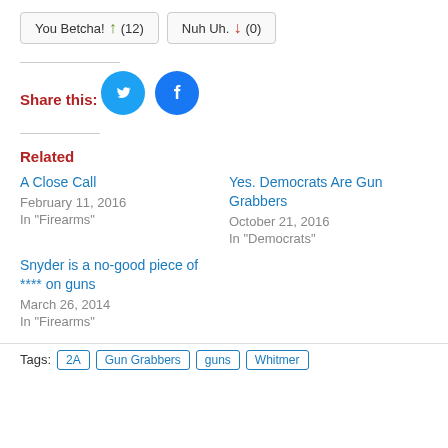You Betcha! (12)   Nuh Uh. (0)
Share this:
[Figure (other): Twitter and Facebook share buttons as blue circles with icons]
Related
A Close Call
February 11, 2016
In "Firearms"
Yes. Democrats Are Gun Grabbers
October 21, 2016
In "Democrats"
Snyder is a no-good piece of **** on guns
March 26, 2014
In "Firearms"
Tags: 2A  Gun Grabbers  guns  Whitmer